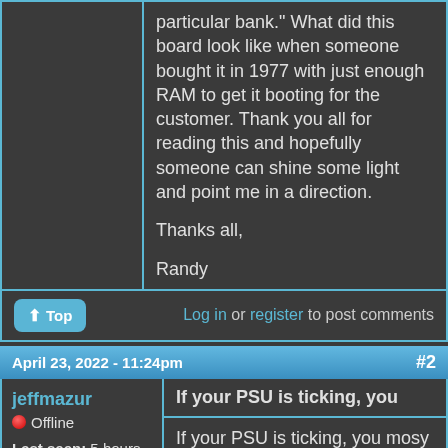particular bank." What did this board look like when someone bought it in 1977 with just enough RAM to get it booting for the customer. Thank you all for reading this and hopefully someone can shine some light and point me in a direction.

Thanks all,

Randy
Top | Log in or register to post comments
April 23, 2022 - 11:24pm  #2
jeffmazur
Offline
Last seen: 5 hours 14 min ago
If your PSU is ticking, you
If your PSU is ticking, you mosy probably have a short. Great that you checked continuity from the +5